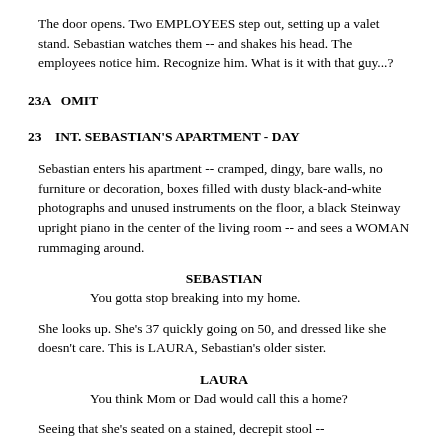The door opens. Two EMPLOYEES step out, setting up a valet stand. Sebastian watches them -- and shakes his head. The employees notice him. Recognize him. What is it with that guy...?
23A   OMIT
23   INT. SEBASTIAN'S APARTMENT - DAY
Sebastian enters his apartment -- cramped, dingy, bare walls, no furniture or decoration, boxes filled with dusty black-and-white photographs and unused instruments on the floor, a black Steinway upright piano in the center of the living room -- and sees a WOMAN rummaging around.
SEBASTIAN
You gotta stop breaking into my home.
She looks up. She's 37 quickly going on 50, and dressed like she doesn't care. This is LAURA, Sebastian's older sister.
LAURA
You think Mom or Dad would call this a home?
Seeing that she's seated on a stained, decrepit stool --
SEBASTIAN